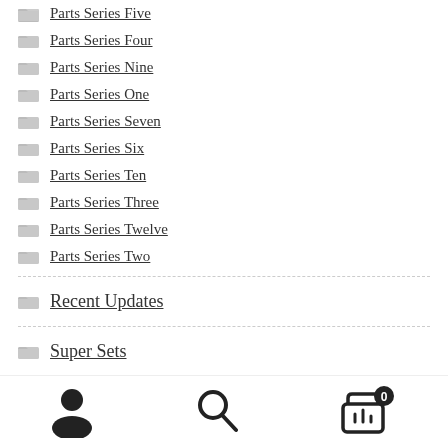Parts Series Five
Parts Series Four
Parts Series Nine
Parts Series One
Parts Series Seven
Parts Series Six
Parts Series Ten
Parts Series Three
Parts Series Twelve
Parts Series Two
Recent Updates
Super Sets
Uncategorized
Videos
[Figure (infographic): Bottom navigation bar with user icon, search icon, and shopping cart icon with badge showing 0]